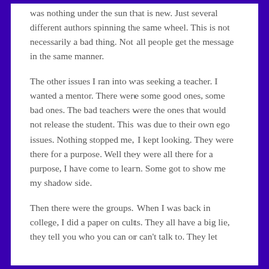was nothing under the sun that is new. Just several different authors spinning the same wheel. This is not necessarily a bad thing. Not all people get the message in the same manner.
The other issues I ran into was seeking a teacher. I wanted a mentor. There were some good ones, some bad ones. The bad teachers were the ones that would not release the student. This was due to their own ego issues. Nothing stopped me, I kept looking. They were there for a purpose. Well they were all there for a purpose, I have come to learn. Some got to show me my shadow side.
Then there were the groups. When I was back in college, I did a paper on cults. They all have a big lie, they tell you who you can or can't talk to. They let